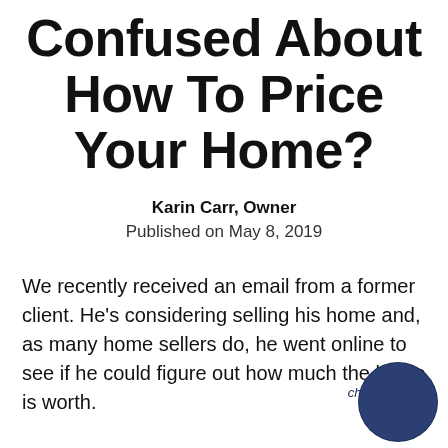Confused About How To Price Your Home?
Karin Carr, Owner
Published on May 8, 2019
We recently received an email from a former client. He's considering selling his home and, as many home sellers do, he went online to see if he could figure out how much the home is worth.